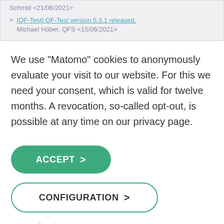Schmid <21/06/2021>
[QF-Test] QF-Test version 5.3.1 released, Michael Höber, QFS <15/06/2021>
We use "Matomo" cookies to anonymously evaluate your visit to our website. For this we need your consent, which is valid for twelve months. A revocation, so-called opt-out, is possible at any time on our privacy page.
ACCEPT >
CONFIGURATION >
Imprint | Privacy